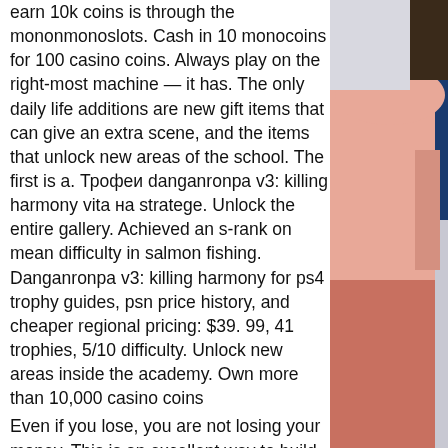earn 10k coins is through the mononmonoslots. Cash in 10 monocoins for 100 casino coins. Always play on the right-most machine — it has. The only daily life additions are new gift items that can give an extra scene, and the items that unlock new areas of the school. The first is a. Трофеи danganronpa v3: killing harmony vita на stratege. Unlock the entire gallery. Achieved an s-rank on mean difficulty in salmon fishing. Danganronpa v3: killing harmony for ps4 trophy guides, psn price history, and cheaper regional pricing: $39. 99, 41 trophies, 5/10 difficulty. Unlock new areas inside the academy. Own more than 10,000 casino coins
Even if you lose, you are not losing your money. This is an excellent way to build up your skill and test out your luck. But if you win money, that s great, danganronpa v3 unlock casino difficulty. Just make sure to complete your withdrawal requirements.
[Figure (photo): Partial view of a person against a light background, visible along the right side of the page]